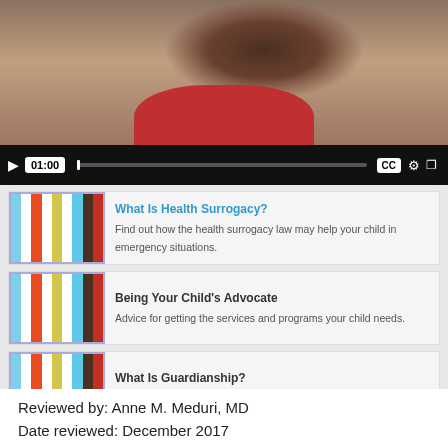[Figure (screenshot): Video player showing a person with curly hair wearing a red shirt, with playback controls showing 01:00 timestamp, CC, settings gear, and fullscreen icons on a black control bar.]
What Is Health Surrogacy? Find out how the health surrogacy law may help your child in emergency situations.
Being Your Child's Advocate Advice for getting the services and programs your child needs.
What Is Guardianship? Learn how to become the guardian of your adult son or daughter.
What Is a Letter of Intent?
Reviewed by: Anne M. Meduri, MD
Date reviewed: December 2017